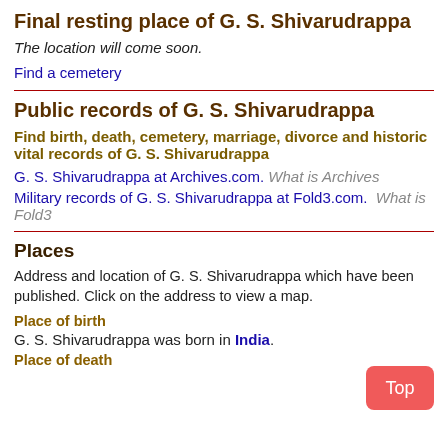Final resting place of G. S. Shivarudrappa
The location will come soon.
Find a cemetery
Public records of G. S. Shivarudrappa
Find birth, death, cemetery, marriage, divorce and historic vital records of G. S. Shivarudrappa
G. S. Shivarudrappa at Archives.com. What is Archives
Military records of G. S. Shivarudrappa at Fold3.com. What is Fold3
Places
Address and location of G. S. Shivarudrappa which have been published. Click on the address to view a map.
Place of birth
G. S. Shivarudrappa was born in India.
Place of death